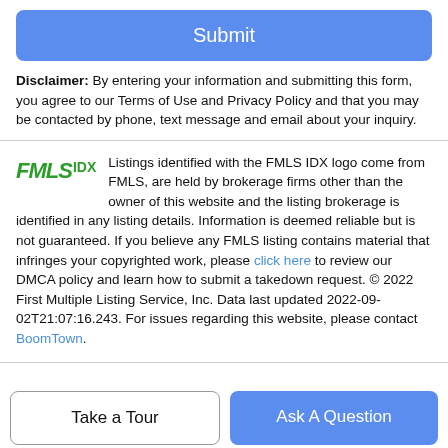Submit
Disclaimer: By entering your information and submitting this form, you agree to our Terms of Use and Privacy Policy and that you may be contacted by phone, text message and email about your inquiry.
Listings identified with the FMLS IDX logo come from FMLS, are held by brokerage firms other than the owner of this website and the listing brokerage is identified in any listing details. Information is deemed reliable but is not guaranteed. If you believe any FMLS listing contains material that infringes your copyrighted work, please click here to review our DMCA policy and learn how to submit a takedown request. © 2022 First Multiple Listing Service, Inc. Data last updated 2022-09-02T21:07:16.243. For issues regarding this website, please contact BoomTown.
Take a Tour
Ask A Question